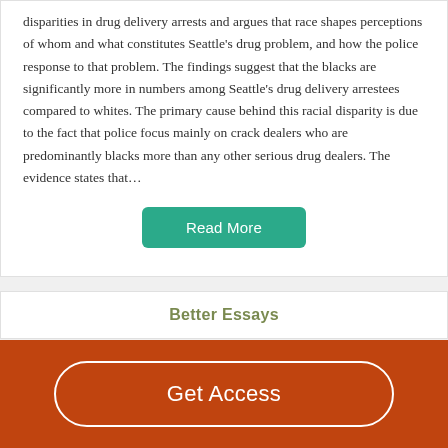disparities in drug delivery arrests and argues that race shapes perceptions of whom and what constitutes Seattle's drug problem, and how the police response to that problem. The findings suggest that the blacks are significantly more in numbers among Seattle's drug delivery arrestees compared to whites. The primary cause behind this racial disparity is due to the fact that police focus mainly on crack dealers who are predominantly blacks more than any other serious drug dealers. The evidence states that…
Read More
Better Essays
Get Access